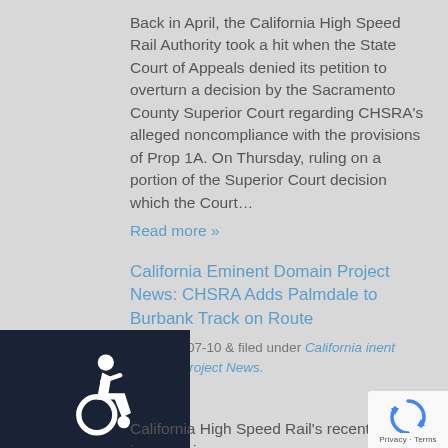Back in April, the California High Speed Rail Authority took a hit when the State Court of Appeals denied its petition to overturn a decision by the Sacramento County Superior Court regarding CHSRA's alleged noncompliance with the provisions of Prop 1A. On Thursday, ruling on a portion of the Superior Court decision which the Court…
Read more »
California Eminent Domain Project News: CHSRA Adds Palmdale to Burbank Track on Route
ted 2014-07-10 & filed under California inent Domain Project News.
[Figure (illustration): Dark navy background with white wheelchair accessibility icon (ISA style)]
California High Speed Rail's recent increase in
[Figure (logo): Google reCAPTCHA badge with circular arrow logo in blue, Privacy and Terms links]